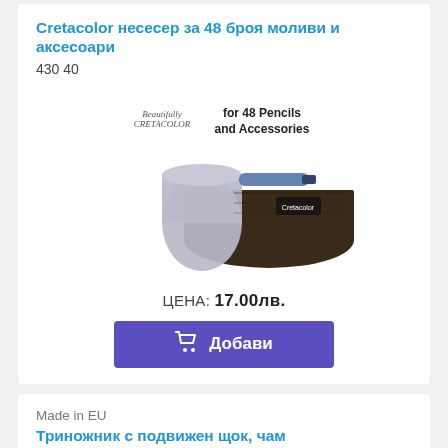Cretacolor несесер за 48 броя моливи и аксесоари
430 40
[Figure (photo): Cretacolor pencil case/roll for 48 pencils and accessories, dark brown fabric roll with pencils and white outer sleeve]
ЦЕНА: 17.00лв.
Добави
Made in EU
Триножник с подвижен щок, чам
INT671
[Figure (photo): Wooden tripod easel with adjustable central column]